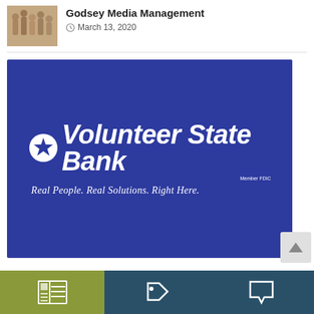[Figure (photo): Thumbnail photo of a group of people standing together]
Godsey Media Management
March 13, 2020
[Figure (logo): Volunteer State Bank advertisement banner on blue background. Logo reads: Volunteer State Bank. Tagline: Real People. Real Solutions. Right Here. Member FDIC.]
[Figure (infographic): Bottom navigation bar with three sections: olive/green section with newspaper icon, teal section with tag/label icon, teal section with speech bubble/comment icon]